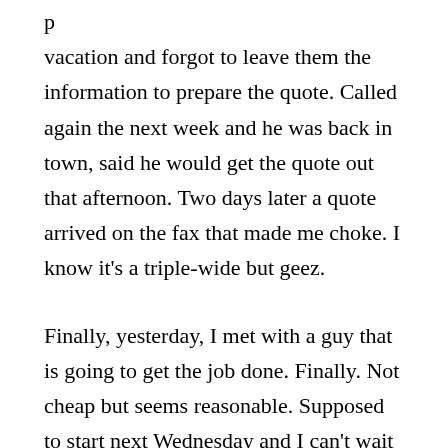p vacation and forgot to leave them the information to prepare the quote. Called again the next week and he was back in town, said he would get the quote out that afternoon. Two days later a quote arrived on the fax that made me choke. I know it's a triple-wide but geez.
Finally, yesterday, I met with a guy that is going to get the job done. Finally. Not cheap but seems reasonable. Supposed to start next Wednesday and I can't wait to have my trailer back. Party time.
Church was cool last night. A respite in the middle of the week. After that, went home and watched the